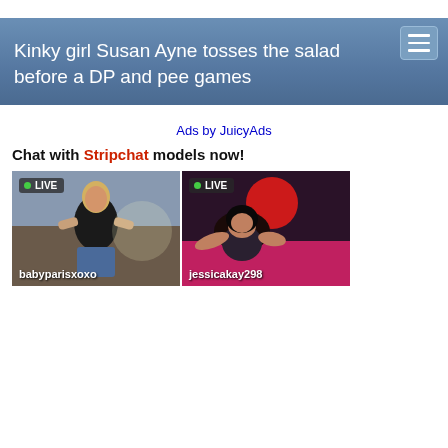Kinky girl Susan Ayne tosses the salad before a DP and pee games
Ads by JuicyAds
Chat with Stripchat models now!
[Figure (screenshot): Live stream thumbnail showing blonde woman in black top labeled babyparisxoxo with LIVE badge]
[Figure (screenshot): Live stream thumbnail showing dark-haired woman with red balloon labeled jessicakay298 with LIVE badge]